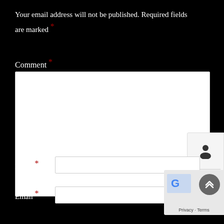Your email address will not be published. Required fields are marked *
Comment *
[Figure (screenshot): Comment text area input box (white, empty, resizable)]
[Figure (screenshot): Floating sidebar panel with user icon and shopping cart icon]
Name *
[Figure (screenshot): Name text input field (white, empty)]
Email *
[Figure (screenshot): Email text input field (white, empty)]
[Figure (screenshot): Google Maps privacy overlay with scroll-to-top button and Privacy/Terms links]